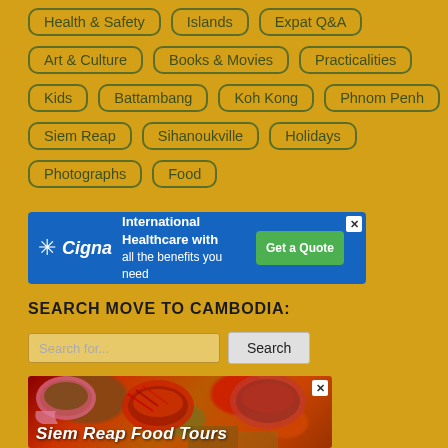Health & Safety
Islands
Expat Q&A
Art & Culture
Books & Movies
Practicalities
Kids
Battambang
Koh Kong
Phnom Penh
Siem Reap
Sihanoukville
Holidays
Photographs
Food
[Figure (infographic): Cigna advertisement banner: International Healthcare with all the benefits you need. Get a Quote button.]
SEARCH MOVE TO CAMBODIA:
[Figure (screenshot): Search bar with placeholder text 'Search for...' and a Search button]
[Figure (photo): Siem Reap Food Tours advertisement showing colorful spices in bowls]